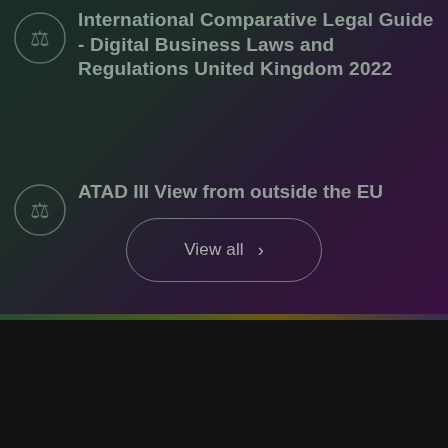International Comparative Legal Guide - Digital Business Laws and Regulations United Kingdom 2022
ATAD III View from outside the EU
View all
We use cookies to give you the best possible experience. You refine the data you're happy for us to track. By using our site, you agree to our Privacy Policy
Cookie Settings
✓ Accept Cookies